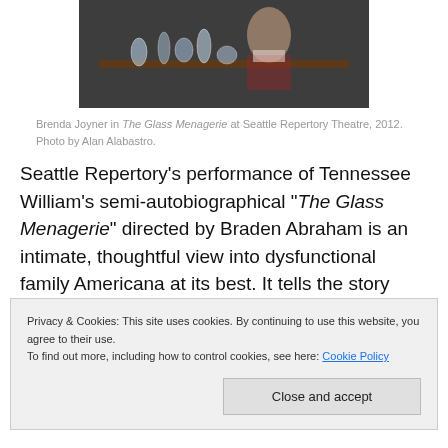[Figure (photo): Photo of Brenda Joyner with glass animal figurines on a shelf, from The Glass Menagerie at Seattle Repertory Theatre, 2012.]
Brenda Joyner in The Glass Menagerie at Seattle Repertory Theatre, 2012. Photo by Alan Alabastro.
Seattle Repertory's performance of Tennessee William's semi-autobiographical “The Glass Menagerie” directed by Braden Abraham is an intimate, thoughtful view into dysfunctional family Americana at its best. It tells the story
Privacy & Cookies: This site uses cookies. By continuing to use this website, you agree to their use.
To find out more, including how to control cookies, see here: Cookie Policy
through the eyes of the troubled and restless son, Tom